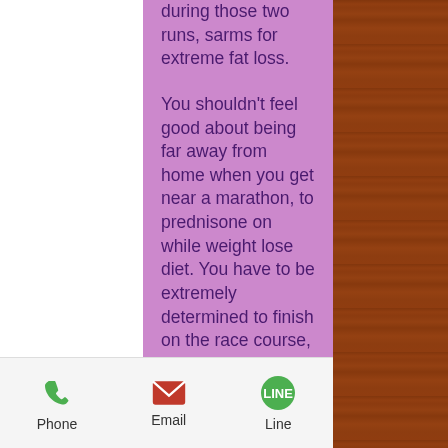during those two runs, sarms for extreme fat loss.
You shouldn't feel good about being far away from home when you get near a marathon, to prednisone on while weight lose diet. You have to be extremely determined to finish on the race course, best sarms for strength and fat loss. If you feel that you are out of it at the last minute, or feel like you are going to get bored walking along, then you should give it up. Running can be part of your training regimen and you can do it with your family or friends if they understand the value.
You should run for only three or four days after you race, first steroid cycle for cutting.
Run hard so you need the energy to run
Phone   Email   Line